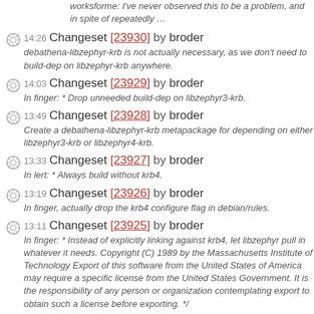worksforme: I've never observed this to be a problem, and in spite of repeatedly …
14:26 Changeset [23930] by broder — debathena-libzephyr-krb is not actually necessary, as we don't need to build-dep on libzephyr-krb anywhere.
14:03 Changeset [23929] by broder — In finger: * Drop unneeded build-dep on libzephyr3-krb.
13:49 Changeset [23928] by broder — Create a debathena-libzephyr-krb metapackage for depending on either libzephyr3-krb or libzephyr4-krb.
13:33 Changeset [23927] by broder — In lert: * Always build without krb4.
13:19 Changeset [23926] by broder — In finger, actually drop the krb4 configure flag in debian/rules.
13:11 Changeset [23925] by broder — In finger: * Instead of explicitly linking against krb4, let libzephyr pull in whatever it needs. Copyright (C) 1989 by the Massachusetts Institute of Technology Export of this software from the United States of America may require a specific license from the United States Government. It is the responsibility of any person or organization contemplating export to obtain such a license before exporting. */
11:35 Changeset [23924] by broder — In sendbug: * Debathena is no longer beta.